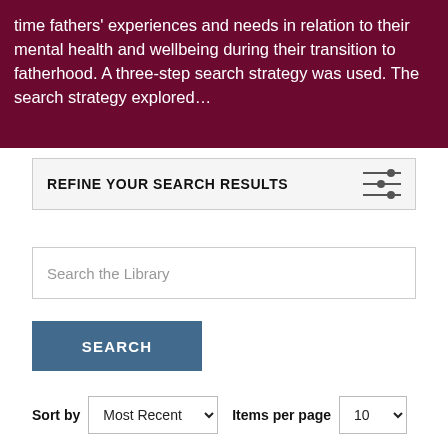time fathers' experiences and needs in relation to their mental health and wellbeing during their transition to fatherhood. A three-step search strategy was used. The search strategy explored…
REFINE YOUR SEARCH RESULTS
Search the Library
SEARCH
Sort by  Most Recent    Items per page  10